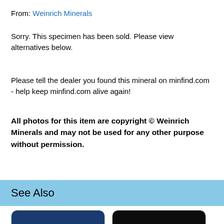From: Weinrich Minerals
Sorry. This specimen has been sold. Please view alternatives below.
Please tell the dealer you found this mineral on minfind.com - help keep minfind.com alive again!
All photos for this item are copyright © Weinrich Minerals and may not be used for any other purpose without permission.
See Also
[Figure (photo): Mineral specimen on dark blue background, showing greenish metallic crystalline mineral cluster]
[Figure (photo): Mineral specimen on dark background, showing pinkish/rose-colored translucent crystals with reddish-brown matrix]